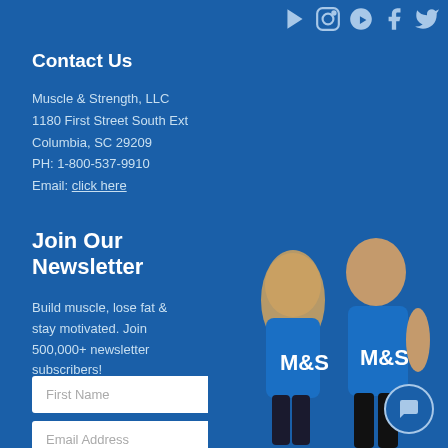[Figure (other): Social media icons: YouTube, Instagram, Pinterest, Facebook, Twitter]
Contact Us
Muscle & Strength, LLC
1180 First Street South Ext
Columbia, SC 29209
PH: 1-800-537-9910
Email: click here
Join Our Newsletter
Build muscle, lose fat & stay motivated. Join 500,000+ newsletter subscribers!
[Figure (photo): Two fitness models (a woman and a man) wearing blue Muscle & Strength tank tops]
[Figure (other): Chat bubble / support icon in bottom right corner]